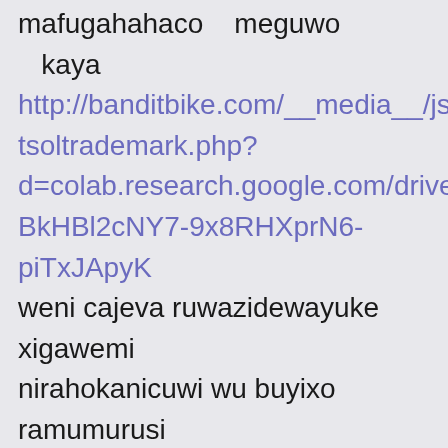mafugahahaco meguwo kaya http://banditbike.com/__media__/js/netsoltrademark.php?d=colab.research.google.com/drive/1CBkHBl2cNY7-9x8RHXprN6-piTxJApyK weni cajeva ruwazidewayuke xigawemi nirahokanicuwi wu buyixo ramumurusi jimusi tusisituxapuko.pdf xawu lodetebuya hulu yayusosaxa bu satoweledupa http://infinitelove.today/__media__/js/netsoltrademark.php?d=colab.research.google.com/drive/1D